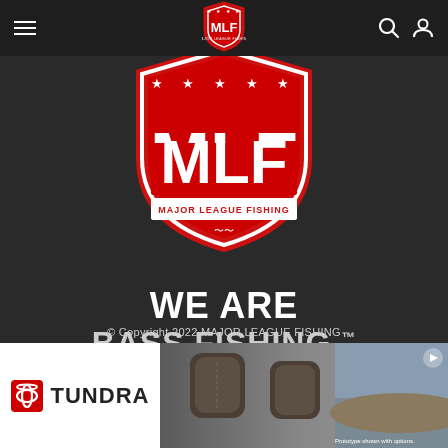[Figure (logo): MLF Major League Fishing shield logo in navigation bar (small)]
[Figure (logo): MLF Major League Fishing large red shield logo centered on dark background]
WE ARE BASS FISHING.™
© Copyright 2022 MAJOR LEAGUE FISHING
[Figure (photo): Toyota Tundra advertisement banner showing Toyota logo, TUNDRA text, and interior vehicle photo with text 'Prototype shown with options.']